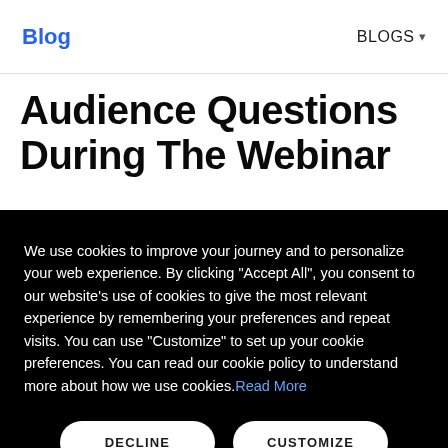Blog | BLOGS ▾
Audience Questions During The Webinar
We use cookies to improve your journey and to personalize your web experience. By clicking "Accept All", you consent to our website's use of cookies to give the most relevant experience by remembering your preferences and repeat visits. You can use "Customize" to set up your cookie preferences. You can read our cookie policy to understand more about how we use cookies. Read More
DECLINE | CUSTOMIZE | ACCEPT ALL